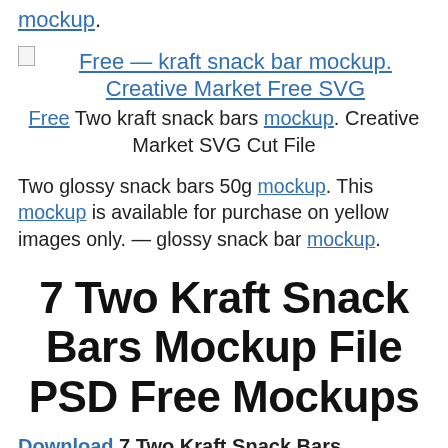mockup.
[Figure (other): Broken image icon placeholder for kraft snack bar mockup]
Free — kraft snack bar mockup. Creative Market Free SVG
Free Two kraft snack bars mockup. Creative Market SVG Cut File
Two glossy snack bars 50g mockup. This mockup is available for purchase on yellow images only. — glossy snack bar mockup.
7 Two Kraft Snack Bars Mockup File PSD Free Mockups
Download 7 Two Kraft Snack Bars